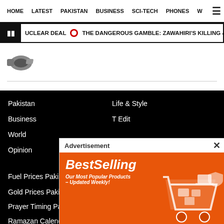HOME   LATEST   PAKISTAN   BUSINESS   SCI-TECH   PHONES   W
UCLEAR DEAL  ●  THE DANGEROUS GAMBLE: ZAWAHIRI'S KILLING & TALIBAN'S BLAM
[Figure (logo): Publication logo - small graphic]
Pakistan
Business
World
Opinion
Life & Style
T Edit
Fuel Prices Pakistan
Gold Prices Pakistan
Prayer Timing Pakistan
Ramazan Calendar Pakistan
Online Advertising
RSS Feeds
Subscribe to the Paper
[Figure (screenshot): Advertisement overlay showing BestSelling AliExpress banner with orange background, shopping cart illustration, and Shop Now button]